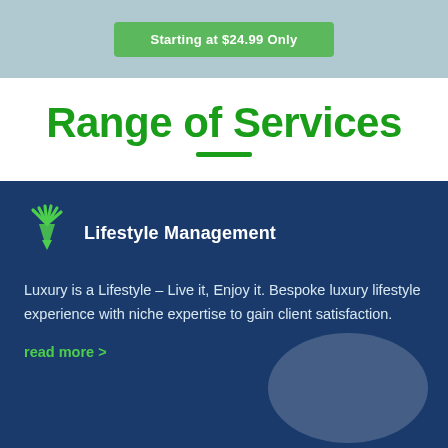Starting at $24.99 Only
Range of Services
Lifestyle Management
Luxury is a Lifestyle – Live it, Enjoy it. Bespoke luxury lifestyle experience with niche expertise to gain client satisfaction.
read more >